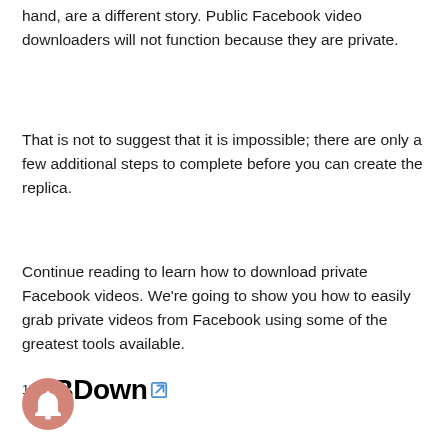hand, are a different story. Public Facebook video downloaders will not function because they are private.
That is not to suggest that it is impossible; there are only a few additional steps to complete before you can create the replica.
Continue reading to learn how to download private Facebook videos. We're going to show you how to easily grab private videos from Facebook using some of the greatest tools available.
1. FBDown [external link]
[Figure (other): Pink/rose circular notification bell button icon in bottom-left corner]